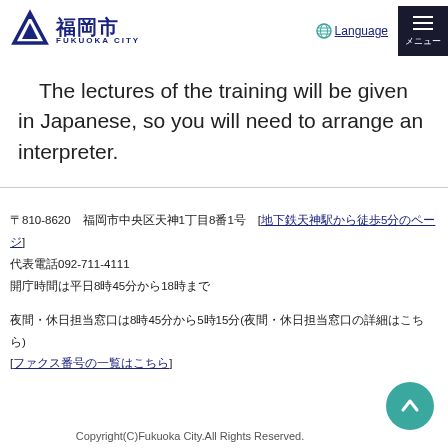福岡市 FUKUOKA CITY — Language — メニュー
The lectures of the training will be given in Japanese, so you will need to arrange an interpreter.
〒810-8620 福岡市中央区天神1丁目8番1号 [地下鉄天神駅から徒歩5分]
代表電話092-711-4111
開庁時間は平日8時45分から18時まで
夜間・休日担当窓口は8時45分から5時15分（夜間・休日担当窓口の詳細はこちら）[ファクス番号の一覧はこちら]
Copyright(C)Fukuoka City.All Rights Reserved.